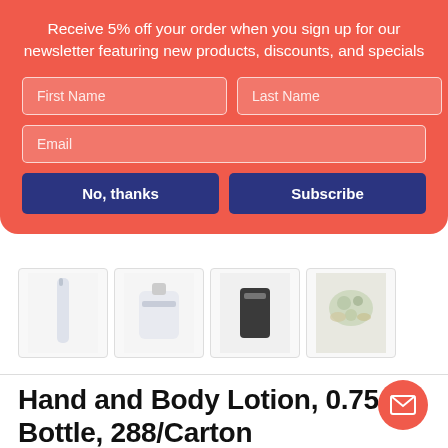Receive 5% off your order when you sign up for our newsletter featuring new products, discounts, and specials
First Name
Last Name
Email
No, thanks
Subscribe
[Figure (photo): Four product thumbnail images: a slim bottle, a white tube, a product on white surface, and botanical/floral ingredients]
Hand and Body Lotion, 0.75 oz, Bottle, 288/Carton
By: Dial Amenities
Item #: DIA1219071